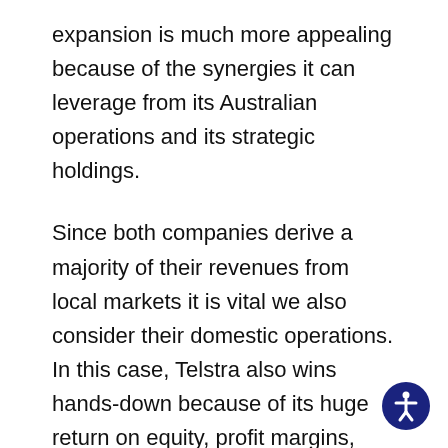expansion is much more appealing because of the synergies it can leverage from its Australian operations and its strategic holdings.
Since both companies derive a majority of their revenues from local markets it is vital we also consider their domestic operations. In this case, Telstra also wins hands-down because of its huge return on equity, profit margins, market dominance and the macroeconomic tailwinds at the back of the telecommunications/technology sector. Nevertheless, both ANZ and Telstra’s international expansions are likely to hold value for long-term shareholders.